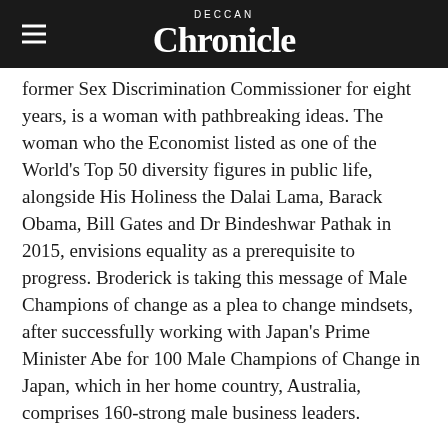Deccan Chronicle
former Sex Discrimination Commissioner for eight years, is a woman with pathbreaking ideas. The woman who the Economist listed as one of the World's Top 50 diversity figures in public life, alongside His Holiness the Dalai Lama, Barack Obama, Bill Gates and Dr Bindeshwar Pathak in 2015, envisions equality as a prerequisite to progress. Broderick is taking this message of Male Champions of change as a plea to change mindsets, after successfully working with Japan's Prime Minister Abe for 100 Male Champions of Change in Japan, which in her home country, Australia, comprises 160-strong male business leaders.
A shocking statistic in India, Elizabeth informs, “The percentage of women in paid work is decreasing, flatlining. It is definitely not growing, Statistics for the first four months of 2017 reveal that jobs for men have increased by 0.9 million whereas 2.4 million…